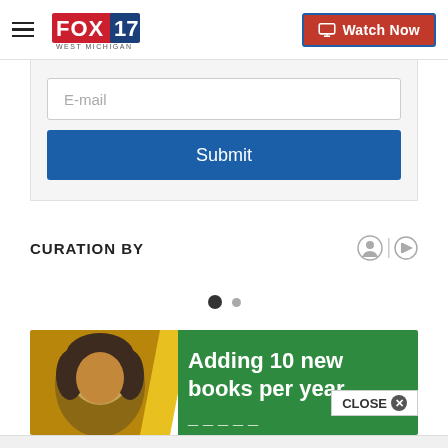[Figure (logo): FOX 17 West Michigan logo with hamburger menu icon on left and Watch Now button on right]
E-mail
Submit
CURATION BY
[Figure (illustration): Two pagination dots, one filled black and one smaller gray]
[Figure (photo): Advertisement banner showing a child reading with green background. Text reads: Adding 10 new books per year]
CLOSE